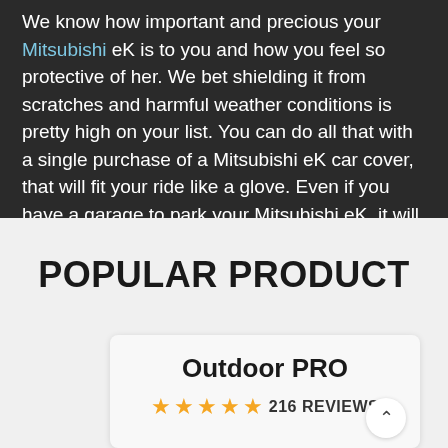We know how important and precious your Mitsubishi eK is to you and how you feel so protective of her. We bet shielding it from scratches and harmful weather conditions is pretty high on your list. You can do all that with a single purchase of a Mitsubishi eK car cover, that will fit your ride like a glove. Even if you have a garage to park your Mitsubishi eK, it will not be safe from dust and accidental scratches. Guaranteed top-notch protection with Autocovers.co.uk.
POPULAR PRODUCT
Outdoor PRO
★★★★★ 216 REVIEWS